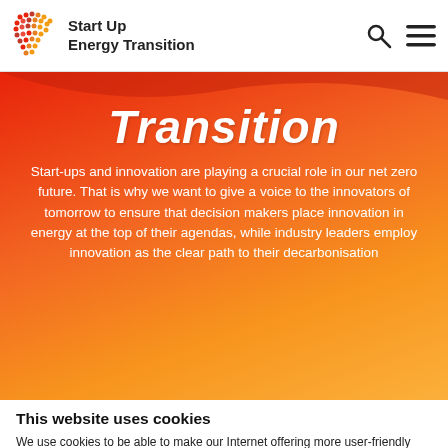Start Up Energy Transition
Transition
Start-ups and innovation are playing a crucial role in our net zero future. That is why we want to give a voice to the innovators of tomorrow to ensure that decision makers place innovation in energy at the top of their agendas, while industry leaders employ innovation as the clear path to their decarbonisation
This website uses cookies
We use cookies to be able to make our Internet offering more user-friendly and effective, personalise content and ads, offer functions for social media and analyse access to our website. We also forward information about your usage of our website to services for social media, advertising and analyses. These services may merge this information with further data that you have provided to them or that you have collected in the course of using the services.